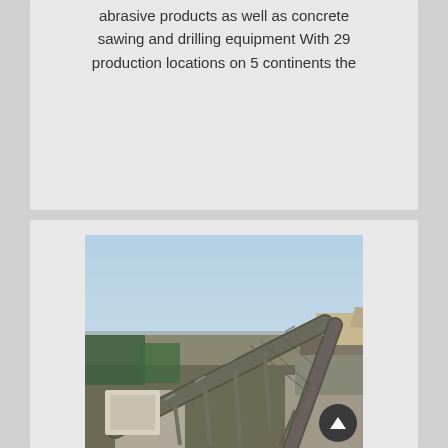abrasive products as well as concrete sawing and drilling equipment With 29 production locations on 5 continents the
[Figure (photo): Industrial quarry or mining equipment showing conveyor belts, crushers, and heavy machinery structures against a sky background with trees in the distance.]